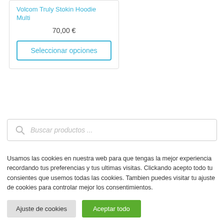Volcom Truly Stokin Hoodie Multi
70,00 €
Seleccionar opciones
Buscar productos ...
Usamos las cookies en nuestra web para que tengas la mejor experiencia recordando tus preferencias y tus ultimas visitas. Clickando acepto todo tu consientes que usemos todas las cookies. Tambien puedes visitar tu ajuste de cookies para controlar mejor los consentimientos.
Ajuste de cookies
Aceptar todo